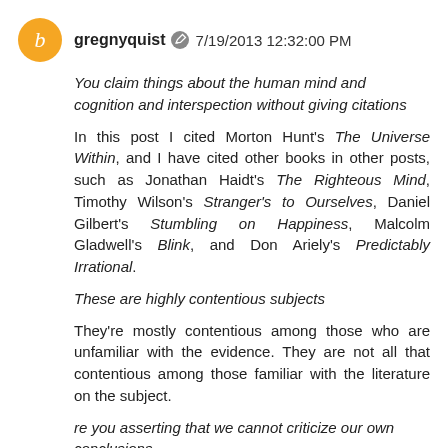gregnyquist  7/19/2013 12:32:00 PM
You claim things about the human mind and cognition and interspection without giving citations
In this post I cited Morton Hunt's The Universe Within, and I have cited other books in other posts, such as Jonathan Haidt's The Righteous Mind, Timothy Wilson's Stranger's to Ourselves, Daniel Gilbert's Stumbling on Happiness, Malcolm Gladwell's Blink, and Don Ariely's Predictably Irrational.
These are highly contentious subjects
They're mostly contentious among those who are unfamiliar with the evidence. They are not all that contentious among those familiar with the literature on the subject.
re you asserting that we cannot criticize our own conclusions
Experimental psychologists have literally run hundreds